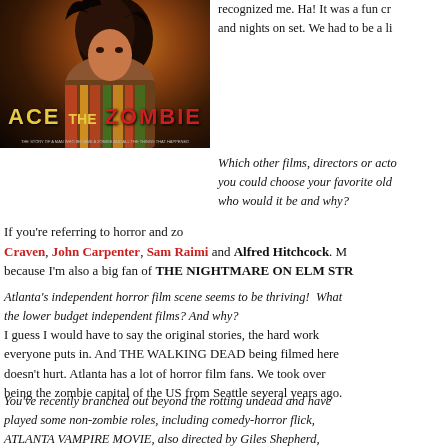[Figure (photo): Movie poster for 'Ace the Zombie' showing a person with dark hair against a warm-toned background, with the title in yellow and red stylized text.]
recognized me. Ha! It was a fun cr and nights on set. We had to be a li
Which other films, directors or acto you could choose your favorite old who would it be and why?
If you’re referring to horror and zo Craven, John Carpenter, Sam Raimi and Alfred Hitchcock. M because I’m also a big fan of THE NIGHTMARE ON ELM STR
Atlanta’s independent horror film scene seems to be thriving! What the lower budget independent films? And why?
I guess I would have to say the original stories, the hard work everyone puts in. And THE WALKING DEAD being filmed here doesn’t hurt. Atlanta has a lot of horror film fans. We took over being the zombie capital of the US from Seattle several years ago.
You’ve recently branched out beyond the rotting undead and have played some non-zombie roles, including comedy-horror flick, ATLANTA VAMPIRE MOVIE, also directed by Giles Shepherd, where you play “Dr. Acula.” Without giving too much away, what